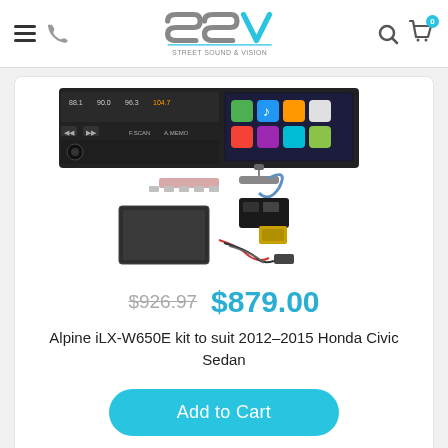Street Sound & Vision - SSV
[Figure (photo): Alpine iLX-W650E car stereo unit with Apple CarPlay interface shown on screen, along with wiring harness, cables, mounting bracket, and accessory components for installation kit]
$926.97  $879.00
Alpine iLX-W650E kit to suit 2012-2015 Honda Civic Sedan
Add to Cart